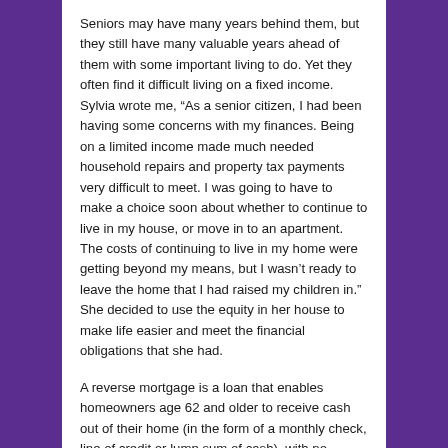Seniors may have many years behind them, but they still have many valuable years ahead of them with some important living to do.  Yet they often find it difficult living on a fixed income.  Sylvia wrote me, “As a senior citizen, I had been having some concerns with my finances.  Being on a limited income made much needed household repairs and property tax payments very difficult to meet.  I was going to have to make a choice soon about whether to continue to live in my house, or move in to an apartment.  The costs of continuing to live in my home were getting beyond my means, but I wasn’t ready to leave the home that I had raised my children in.”   She decided to use the equity in her house to make life easier and meet the financial obligations that she had.
A reverse mortgage is a loan that enables homeowners age 62 and older to receive cash out of their home (in the form of a monthly check, line of credit or lump sum of cash), with no monthly payments and no repayment due until the homeowner permanently leaves the home.  As long as the homeowner is 62 or older and lives in their